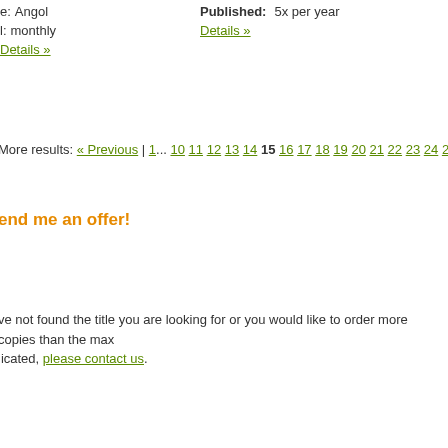Language: Angol
Published: 5x per year
Details »
Details »
More results: « Previous | 1... 10 11 12 13 14 15 16 17 18 19 20 21 22 23 24 25 ...48 | Next »
Send me an offer!
If you have not found the title you are looking for or you would like to order more copies than the maximum indicated, please contact us.